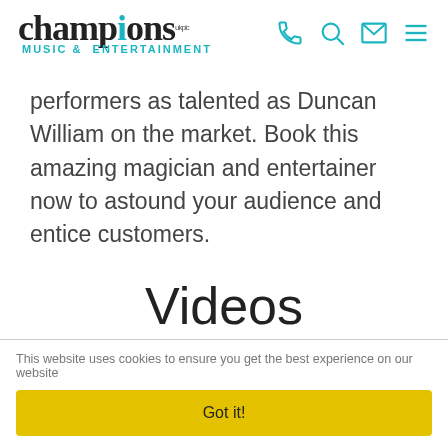[Figure (logo): Champions Music & Entertainment UK PLC logo with teal feather/flame on the letter i, and teal subtitle 'MUSIC & ENTERTAINMENT']
[Figure (other): Navigation icons: phone, search, mail, hamburger menu — all in teal]
performers as talented as Duncan William on the market. Book this amazing magician and entertainer now to astound your audience and entice customers.
Videos
This website uses cookies to ensure you get the best experience on our website
Got it!